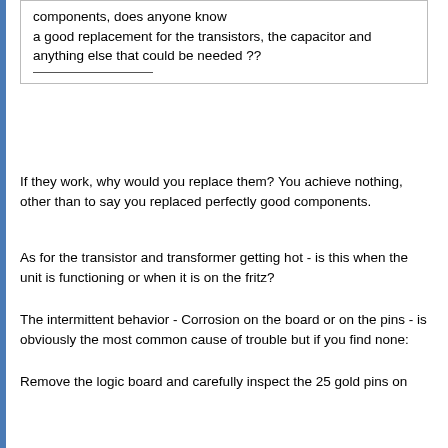components, does anyone know a good replacement for the transistors, the capacitor and anything else that could be needed ??
If they work, why would you replace them? You achieve nothing, other than to say you replaced perfectly good components.
As for the transistor and transformer getting hot - is this when the unit is functioning or when it is on the fritz?
The intermittent behavior - Corrosion on the board or on the pins - is obviously the most common cause of trouble but if you find none:
Remove the logic board and carefully inspect the 25 gold pins on the keyboard side - insure that the smaller, lower side extends outward enough to engage and make good contact with plate-through hole of the logic board. It only takes one compressed pin to cause major grief. When the pins look good, with magnification, inspect the plate-through holes of the logic board.
FWIW, I have seen boards (especially on 65's) with missing/worn plating that caused intermittent contact. I recently had a 65 that so much wear inside the holes that I ended up rotating most of the connector pins 90 degrees so it would not go crazy when the low